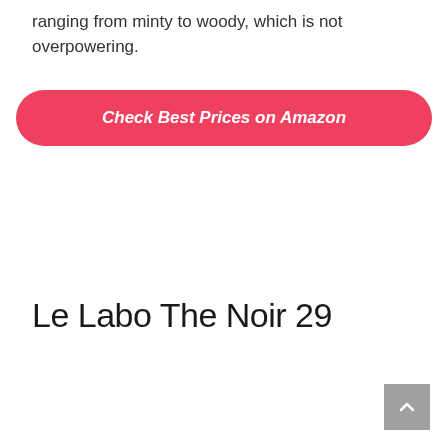ranging from minty to woody, which is not overpowering.
[Figure (other): Red pill-shaped button with italic bold white text: Check Best Prices on Amazon]
Le Labo The Noir 29